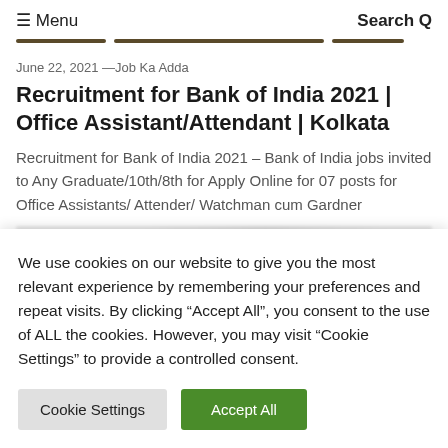≡ Menu   Search Q
June 22, 2021 —Job Ka Adda
Recruitment for Bank of India 2021 | Office Assistant/Attendant | Kolkata
Recruitment for Bank of India 2021 – Bank of India jobs invited to Any Graduate/10th/8th for Apply Online for 07 posts for Office Assistants/ Attender/ Watchman cum Gardner
We use cookies on our website to give you the most relevant experience by remembering your preferences and repeat visits. By clicking "Accept All", you consent to the use of ALL the cookies. However, you may visit "Cookie Settings" to provide a controlled consent.